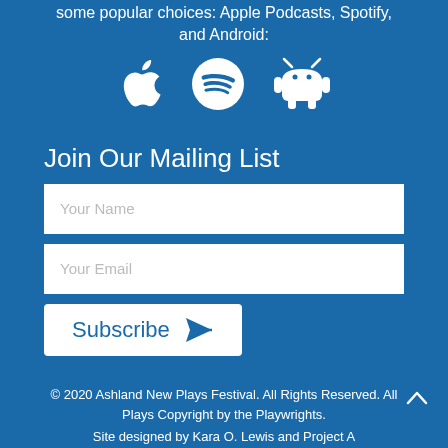some popular choices: Apple Podcasts, Spotify, and Android:
[Figure (illustration): Three icons: Apple logo, Spotify logo (circle with lines), and Android robot, all in white on blue background]
Join Our Mailing List
[Figure (screenshot): White input box with placeholder text 'Your Name']
[Figure (screenshot): White input box with placeholder text 'Your Email']
[Figure (screenshot): White Subscribe button with paper plane icon in blue]
© 2020 Ashland New Plays Festival. All Rights Reserved. All Plays Copyright by the Playwrights.
Site designed by Kara O. Lewis and Project A